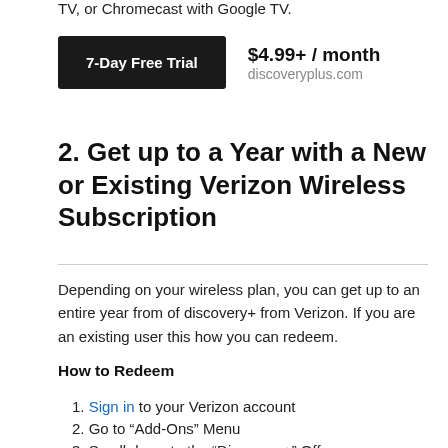TV, or Chromecast with Google TV.
7-Day Free Trial
$4.99+ / month
discoveryplus.com
2. Get up to a Year with a New or Existing Verizon Wireless Subscription
Depending on your wireless plan, you can get up to an entire year from of discovery+ from Verizon. If you are an existing user this how you can redeem.
How to Redeem
Sign in to your Verizon account
Go to “Add-Ons” Menu
Scroll down to the “Discovery+” Offer